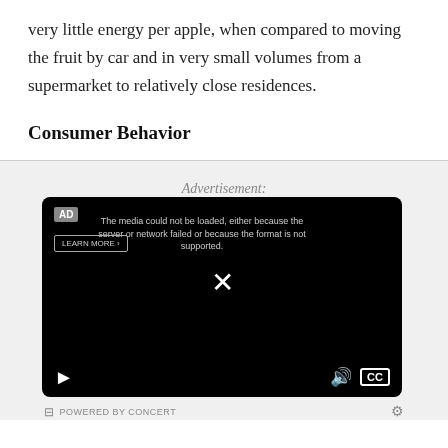very little energy per apple, when compared to moving the fruit by car and in very small volumes from a supermarket to relatively close residences.
Consumer Behavior
Advertisement:
[Figure (screenshot): Embedded video player with black background showing a media load error message. Contains AD badge, LEARN MORE button, error text 'The media could not be loaded, either because the server or network failed or because the format is not supported.', a close X button, and video controls (play, volume, CC). Footer shows 'POWERED BY CONCERT' with gear icon.]